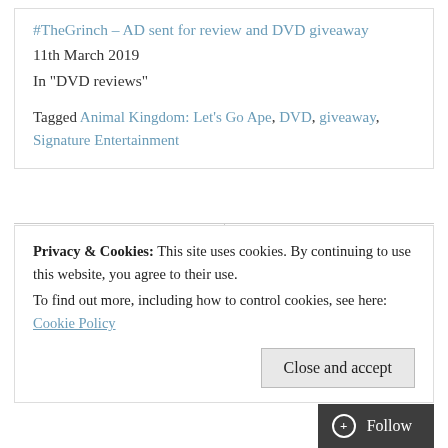#TheGrinch – AD sent for review and DVD giveaway
11th March 2019
In "DVD reviews"
Tagged Animal Kingdom: Let's Go Ape, DVD, giveaway, Signature Entertainment
Privacy & Cookies: This site uses cookies. By continuing to use this website, you agree to their use.
To find out more, including how to control cookies, see here: Cookie Policy
Close and accept
Follow